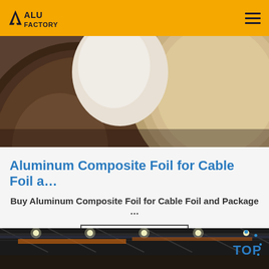ALU FACTORY
[Figure (photo): Large rolls of aluminum composite foil stacked in a warehouse or factory, showing circular cross-sections of the rolls in silver and brown/kraft tones]
Aluminum Composite Foil for Cable Foil a…
Buy Aluminum Composite Foil for Cable Foil and Package …
Get Price
[Figure (photo): Interior of an industrial factory or warehouse with overhead crane infrastructure, ceiling lights illuminating the large space]